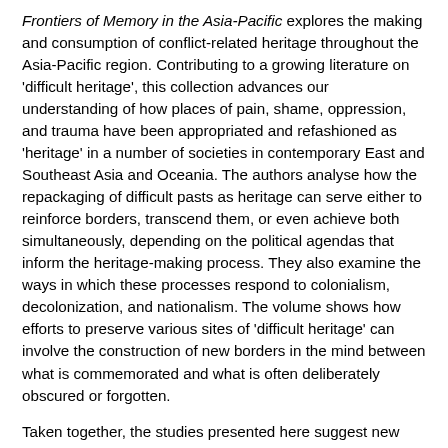Frontiers of Memory in the Asia-Pacific explores the making and consumption of conflict-related heritage throughout the Asia-Pacific region. Contributing to a growing literature on 'difficult heritage', this collection advances our understanding of how places of pain, shame, oppression, and trauma have been appropriated and refashioned as 'heritage' in a number of societies in contemporary East and Southeast Asia and Oceania. The authors analyse how the repackaging of difficult pasts as heritage can serve either to reinforce borders, transcend them, or even achieve both simultaneously, depending on the political agendas that inform the heritage-making process. They also examine the ways in which these processes respond to colonialism, decolonization, and nationalism. The volume shows how efforts to preserve various sites of 'difficult heritage' can involve the construction of new borders in the mind between what is commemorated and what is often deliberately obscured or forgotten.
Taken together, the studies presented here suggest new directions for comparative research into difficult heritage across Asia and beyond, applying an interdisciplinary and critical perspective that spans history, heritage studies, memory studies, urban studies, architecture, and international relations.